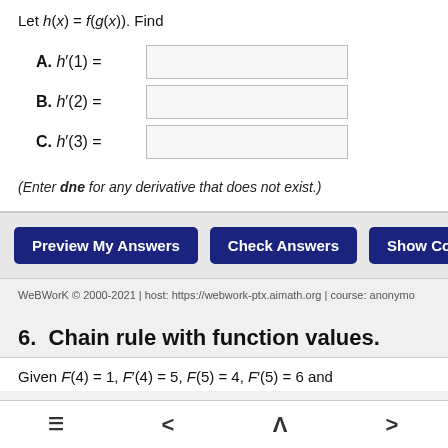Let h(x) = f(g(x)). Find
A. h′(1) =
B. h′(2) =
C. h′(3) =
(Enter dne for any derivative that does not exist.)
Preview My Answers | Check Answers | Show Correct A
WeBWorK © 2000-2021 | host: https://webwork-ptx.aimath.org | course: anonymo
6.  Chain rule with function values.
Given F(4) = 1, F′(4) = 5, F(5) = 4, F′(5) = 6 and